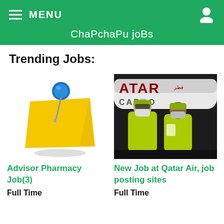ChaPchaPu joBs
Trending Jobs:
[Figure (illustration): Blue pushpin stuck in a yellow sticky note, floating with shadow]
Advisor Pharmacy Job(3)
Full Time
[Figure (photo): Two workers in yellow hi-vis jackets and masks standing in front of a Qatar Cargo aircraft]
New Job at Qatar Air, job posting sites
Full Time